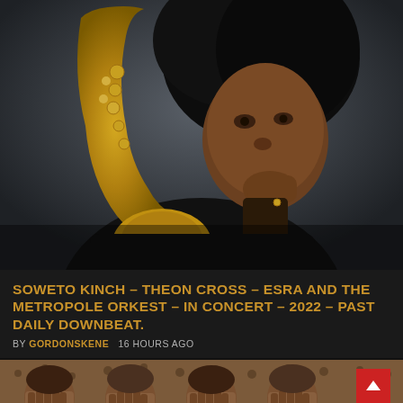[Figure (photo): A Black man with a large afro hairstyle holding a golden/brass saxophone close to his face, looking intensely at the camera with his hand raised near his chin. Dark grey background. Black clothing.]
SOWETO KINCH – THEON CROSS – ESRA AND THE METROPOLE ORKEST – IN CONCERT – 2022 – PAST DAILY DOWNBEAT.
BY GORDONSKENE   16 HOURS AGO
[Figure (photo): A sepia-toned vintage black-and-white photograph of four people covering their faces with their hands, set against a crowd background.]